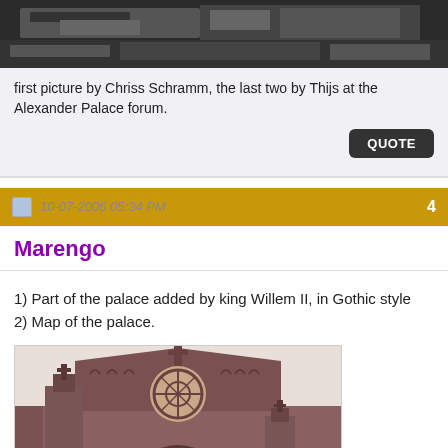[Figure (photo): Black and white historical photograph, partial view at top of page]
first picture by Chriss Schramm, the last two by Thijs at the Alexander Palace forum.
QUOTE
10-07-2006 05:34 PM   4
Marengo
1) Part of the palace added by king Willem II, in Gothic style
2) Map of the palace.
[Figure (photo): Color photograph of a Gothic style brick church/palace facade with a rose window and cross ornaments on the gabled roof]